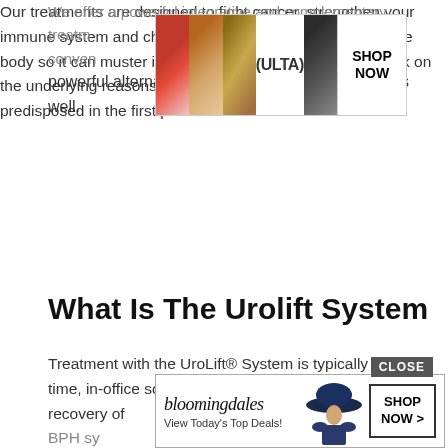We offer a powerful integrative and complementary treatment and very powerful alternative & holistic cancer treatments as well.
[Figure (other): ULTA beauty advertisement banner showing makeup photos (lips, brush, smoky eyes) with SHOP NOW button]
Our treatments are designed to fight cancer, strengthen your immune system and change the underlying conditions of the body so it can muster its full healing potential. We also work on the underlying reasons why your body may have become predisposed in the first place.
What Is The Urolift System
Treatment with the UroLift® System is typically a one-time, in-office solution that provides rapid relief and recovery of BPH symptoms and how the ...more
[Figure (other): Bloomingdales advertisement banner - 'View Today's Top Deals!' with woman in hat and SHOP NOW > button, with CLOSE button]